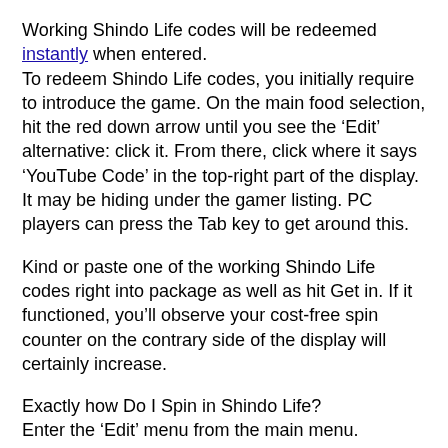Working Shindo Life codes will be redeemed instantly when entered.
To redeem Shindo Life codes, you initially require to introduce the game. On the main food selection, hit the red down arrow until you see the ‘Edit’ alternative: click it. From there, click where it says ‘YouTube Code’ in the top-right part of the display. It may be hiding under the gamer listing. PC players can press the Tab key to get around this.
Kind or paste one of the working Shindo Life codes right into package as well as hit Get in. If it functioned, you’ll observe your cost-free spin counter on the contrary side of the display will certainly increase.
Exactly how Do I Spin in Shindo Life?
Enter the ‘Edit’ menu from the main menu.
Click either the ‘Elements’ or ‘Bloodline’ buttons around your character.